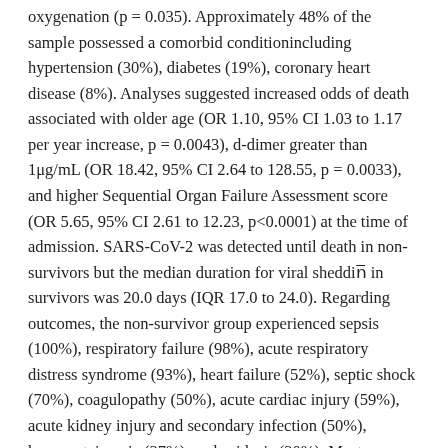oxygenation (p = 0.035). Approximately 48% of the sample possessed a comorbid conditionincluding hypertension (30%), diabetes (19%), coronary heart disease (8%). Analyses suggested increased odds of death associated with older age (OR 1.10, 95% CI 1.03 to 1.17 per year increase, p = 0.0043), d-dimer greater than 1μg/mL (OR 18.42, 95% CI 2.64 to 128.55, p = 0.0033), and higher Sequential Organ Failure Assessment score (OR 5.65, 95% CI 2.61 to 12.23, p<0.0001) at the time of admission. SARS-CoV-2 was detected until death in non-survivors but the median duration for viral shedding in survivors was 20.0 days (IQR 17.0 to 24.0). Regarding outcomes, the non-survivor group experienced sepsis (100%), respiratory failure (98%), acute respiratory distress syndrome (93%), heart failure (52%), septic shock (70%), coagulopathy (50%), acute cardiac injury (59%), acute kidney injury and secondary infection (50%), hypoproteinemia (37%), and acidosis (30%). Most common in survivors were sepsis (42%), respiratory failure (36%), and heart failure (12%), though all of these between-group comparisons